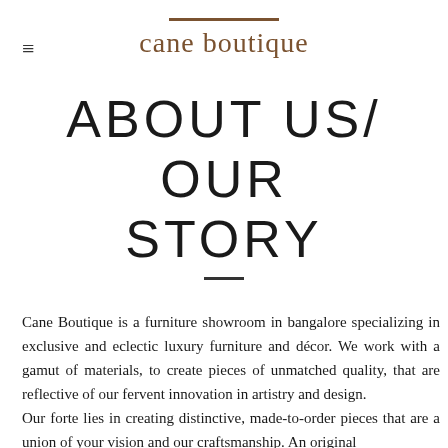cane boutique
ABOUT US/ OUR STORY
Cane Boutique is a furniture showroom in bangalore specializing in exclusive and eclectic luxury furniture and décor. We work with a gamut of materials, to create pieces of unmatched quality, that are reflective of our fervent innovation in artistry and design.
Our forte lies in creating distinctive, made-to-order pieces that are a union of your vision and our craftsmanship. An original